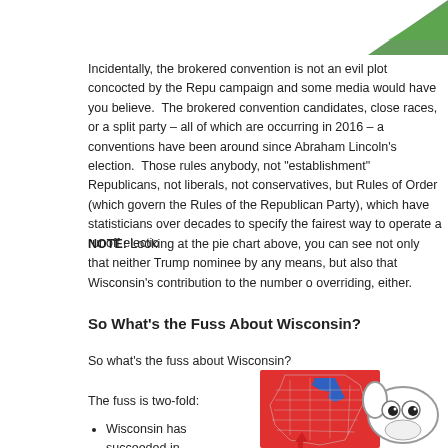[Figure (illustration): Partial green shape visible in top right corner]
Incidentally, the brokered convention is not an evil plot concocted by the Repu campaign and some media would have you believe.  The brokered convention candidates, close races, or a split party – all of which are occurring in 2016 – a conventions have been around since Abraham Lincoln's election.  Those rules anybody, not "establishment" Republicans, not liberals, not conservatives, but Rules of Order (which govern the Rules of the Republican Party), which have statisticians over decades to specify the fairest way to operate a runoff electio
NOTE: Looking at the pie chart above, you can see not only that neither Trump nominee by any means, but also that Wisconsin's contribution to the number o overriding, either.
So What's the Fuss About Wisconsin?
So what's the fuss about Wisconsin?
The fuss is two-fold:
Wisconsin has succeeded in
[Figure (map): Wisconsin county map showing red (Republican) and blue (Democrat) counties]
[Figure (illustration): Cartoon dog head illustration on right side]